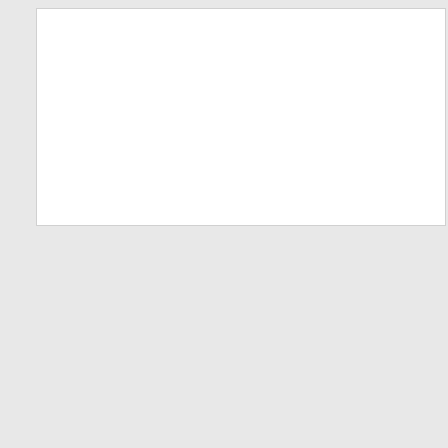[Figure (other): White rectangular box with light border, appears to be a blank content area or placeholder]
[Figure (illustration): Promotional banner with cyan/blue gradient background, decorative wave and red accent shape in top-right corner. Text reads FREE MOCK TEST Save your Study in dark navy and black bold fonts.]